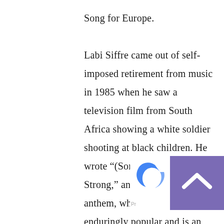Song for Europe.

Labi Siffre came out of self-imposed retirement from music in 1985 when he saw a television film from South Africa showing a white soldier shooting at black children. He wrote “(Something Inside) So Strong,” an anti-apartheid anthem, which remained enduringly popular and is an example of the political and sociological thread running through much of Siffre’s lyrics and poetry. It was sung by the crowd
[Figure (other): A scroll-to-top button (purple/dark lavender square with white upward-pointing arrow chevron) overlaid in the bottom-right corner, with a partial 'Pr' and 'ms' text label visible beside it.]